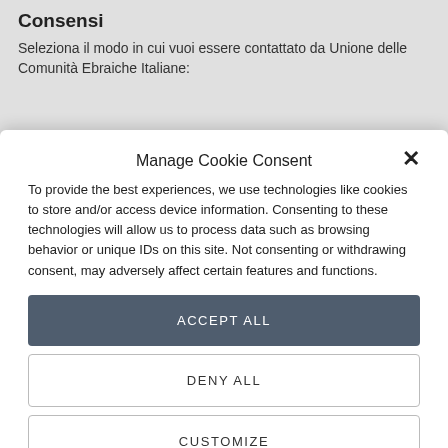Consensi
Seleziona il modo in cui vuoi essere contattato da Unione delle Comunità Ebraiche Italiane:
Manage Cookie Consent
To provide the best experiences, we use technologies like cookies to store and/or access device information. Consenting to these technologies will allow us to process data such as browsing behavior or unique IDs on this site. Not consenting or withdrawing consent, may adversely affect certain features and functions.
ACCEPT ALL
DENY ALL
CUSTOMIZE
Cookie Policy  Privacy